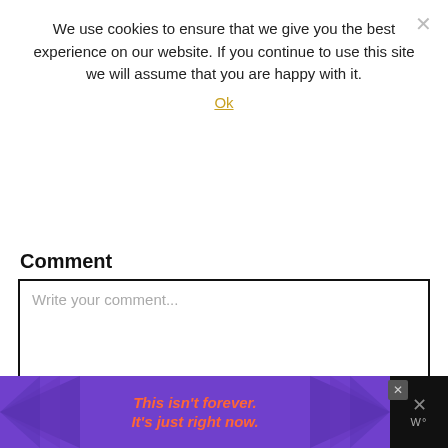We use cookies to ensure that we give you the best experience on our website. If you continue to use this site we will assume that you are happy with it.
Ok
Comment
[Figure (screenshot): Comment form with textarea placeholder 'Write your comment...', Name field, and Email field]
[Figure (infographic): Advertisement banner at bottom: purple background with rays, text 'This isn't forever. It's just right now.' in orange italic bold font]